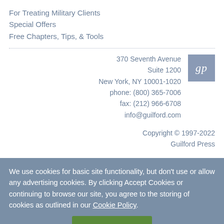For Treating Military Clients
Special Offers
Free Chapters, Tips, & Tools
370 Seventh Avenue
Suite 1200
New York, NY 10001-1020
phone: (800) 365-7006
fax: (212) 966-6708
info@guilford.com
[Figure (logo): Guilford Press logo with letters 'gp' in italic serif font on blue-gray background]
Copyright © 1997-2022
Guilford Press
We use cookies for basic site functionality, but don't use or allow any advertising cookies. By clicking Accept Cookies or continuing to browse our site, you agree to the storing of cookies as outlined in our Cookie Policy.